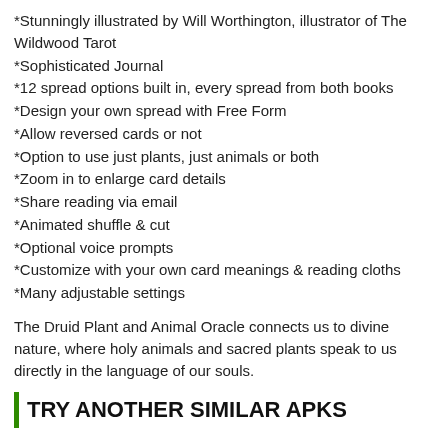*Stunningly illustrated by Will Worthington, illustrator of The Wildwood Tarot
*Sophisticated Journal
*12 spread options built in, every spread from both books
*Design your own spread with Free Form
*Allow reversed cards or not
*Option to use just plants, just animals or both
*Zoom in to enlarge card details
*Share reading via email
*Animated shuffle & cut
*Optional voice prompts
*Customize with your own card meanings & reading cloths
*Many adjustable settings
The Druid Plant and Animal Oracle connects us to divine nature, where holy animals and sacred plants speak to us directly in the language of our souls.
TRY ANOTHER SIMILAR APKS